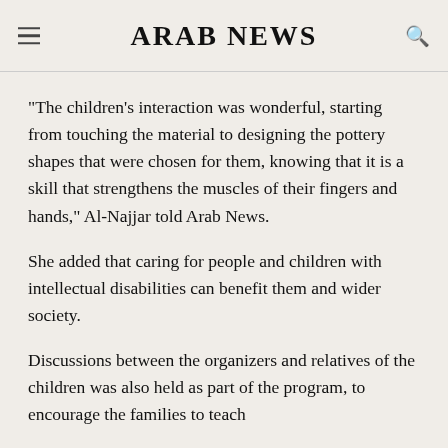ARAB NEWS
“The children’s interaction was wonderful, starting from touching the material to designing the pottery shapes that were chosen for them, knowing that it is a skill that strengthens the muscles of their fingers and hands,” Al-Najjar told Arab News.
She added that caring for people and children with intellectual disabilities can benefit them and wider society.
Discussions between the organizers and relatives of the children was also held as part of the program, to encourage the families to teach